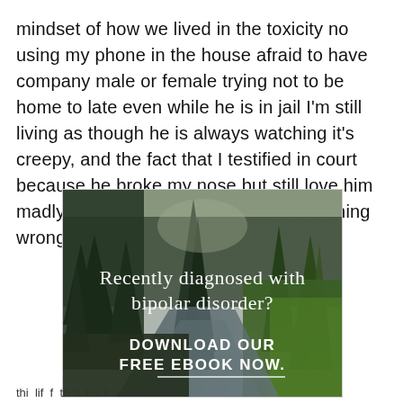mindset of how we lived in the toxicity no using my phone in the house afraid to have company male or female trying not to be home to late even while he is in jail I'm still living as though he is always watching it's creepy, and the fact that I testified in court because he broke my nose but still love him madly bogles my mind I think it's something wrong with me at this point
[Figure (photo): Forest and river landscape with text overlay: 'Recently diagnosed with bipolar disorder? DOWNLOAD OUR FREE EBOOK NOW.' with a horizontal line beneath]
advertisement
thi lif f th t l i k i d bbi thi